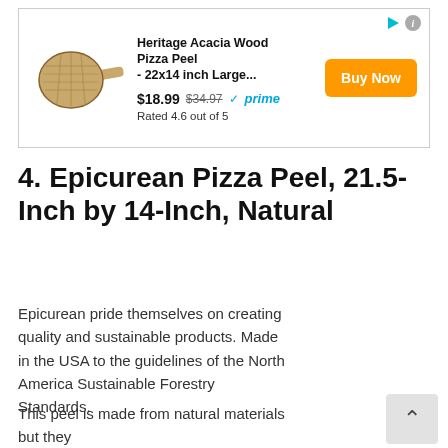[Figure (screenshot): Amazon-style advertisement box showing a Heritage Acacia Wood Pizza Peel with product image, price $18.99 (was $34.97), Prime badge, rating 4.6 out of 5, and orange Buy Now button]
4. Epicurean Pizza Peel, 21.5-Inch by 14-Inch, Natural
Epicurean pride themselves on creating quality and sustainable products. Made in the USA to the guidelines of the North America Sustainable Forestry Standards.
This peel is made from natural materials but they